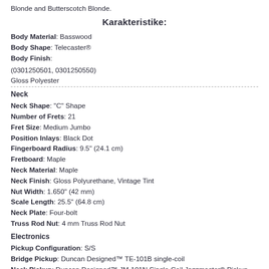Blonde and Butterscotch Blonde.
Karakteristike:
Body Material: Basswood
Body Shape: Telecaster®
Body Finish:

(0301250501, 0301250550)
Gloss Polyester
Neck
Neck Shape: "C" Shape
Number of Frets: 21
Fret Size: Medium Jumbo
Position Inlays: Black Dot
Fingerboard Radius: 9.5" (24.1 cm)
Fretboard: Maple
Neck Material: Maple
Neck Finish: Gloss Polyurethane, Vintage Tint
Nut Width: 1.650" (42 mm)
Scale Length: 25.5" (64.8 cm)
Neck Plate: Four-bolt
Truss Rod Nut: 4 mm Truss Rod Nut
Electronics
Pickup Configuration: S/S
Bridge Pickup: Duncan Designed™ TE-101B single-coil
Neck Pickup: Duncan Designed™ JM-101N Single-Coil Jazzmaster® Pickup